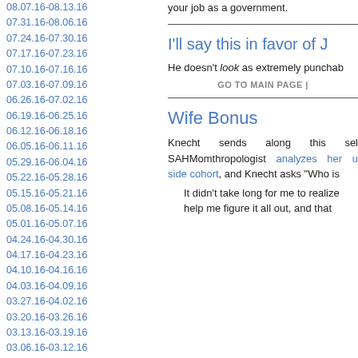08.07.16-08.13.16
07.31.16-08.06.16
07.24.16-07.30.16
07.17.16-07.23.16
07.10.16-07.16.16
07.03.16-07.09.16
06.26.16-07.02.16
06.19.16-06.25.16
06.12.16-06.18.16
06.05.16-06.11.16
05.29.16-06.04.16
05.22.16-05.28.16
05.15.16-05.21.16
05.08.16-05.14.16
05.01.16-05.07.16
04.24.16-04.30.16
04.17.16-04.23.16
04.10.16-04.16.16
04.03.16-04.09.16
03.27.16-04.02.16
03.20.16-03.26.16
03.13.16-03.19.16
03.06.16-03.12.16
02.28.16-03.05.16
02.21.16-02.27.16
02.14.16-02.20.16
02.07.16-02.13.16
01.31.16-02.06.16
01.24.16-01.30.16
01.17.16-01.23.16
01.10.16-01.16.16
01.03.16-01.09.16
12.27.15-01.02.16
your job as a government.
I'll say this in favor of J
He doesn't look as extremely punchab
GO TO MAIN PAGE |
Wife Bonus
Knecht sends along this sel SAHMomthropologist analyzes her u side cohort, and Knecht asks "Who is
It didn't take long for me to realize help me figure it all out, and that